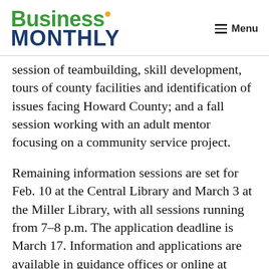Business Monthly | Menu
session of teambuilding, skill development, tours of county facilities and identification of issues facing Howard County; and a fall session working with an adult mentor focusing on a community service project.
Remaining information sessions are set for Feb. 10 at the Central Library and March 3 at the Miller Library, with all sessions running from 7–8 p.m. The application deadline is March 17. Information and applications are available in guidance offices or online at